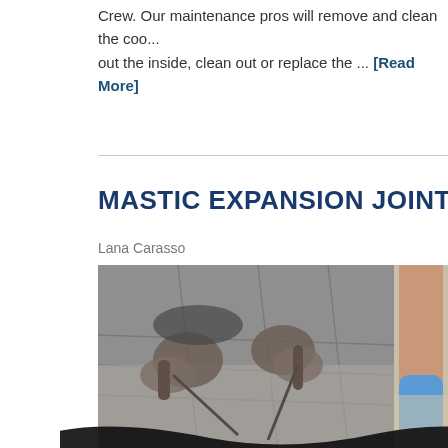Crew. Our maintenance pros will remove and clean the coo... out the inside, clean out or replace the ... [Read More]
MASTIC EXPANSION JOINTS
Lana Carasso
[Figure (photo): Black and white photo of hands working on mastic expansion joints on tiled surface, with a banner overlay reading 'Mastic Expansion J...' in yellow text on black ribbon, and a partial color photo of a gloved hand holding a blue tool on the right side. A second smaller black and white photo is partially visible at the bottom.]